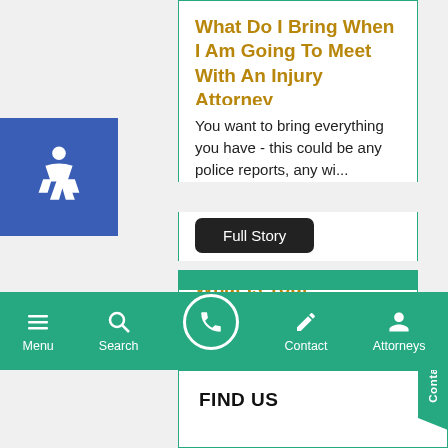What Do I Bring When I Am Going To Meet With An Injury Attorney
You want to bring everything you have - this could be any police reports, any wi...
Full Story
What Is Your Approach To Helping Clients?
Evaluate - Preparation & Communication https://youtu.be/-bRV-XclMiQ...
Full Story
Menu  Search  Contact  Attorneys
FIND US